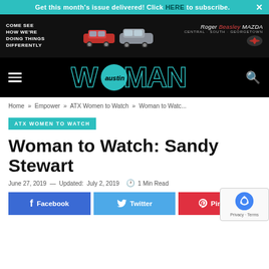Get this month's issue delivered! Click HERE to subscribe.  ×
[Figure (photo): Roger Beasley Mazda advertisement banner showing red and silver Mazda SUVs with text 'Come see how we're doing things differently' and Roger Beasley Mazda logo, Central, South, Georgetown locations]
[Figure (logo): Austin Woman magazine logo in teal on black navigation bar with hamburger menu icon and search icon]
Home » Empower » ATX Women to Watch » Woman to Watc...
ATX WOMEN TO WATCH
Woman to Watch: Sandy Stewart
June 27, 2019 — Updated: July 2, 2019  🕐 1 Min Read
Facebook   Twitter   Pinterest